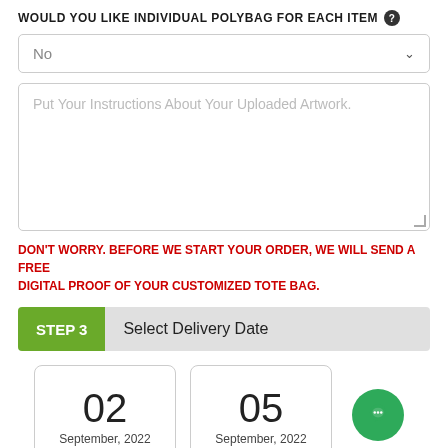WOULD YOU LIKE INDIVIDUAL POLYBAG FOR EACH ITEM ?
No
Put Your Instructions About Your Uploaded Artwork.
DON'T WORRY. BEFORE WE START YOUR ORDER, WE WILL SEND A FREE DIGITAL PROOF OF YOUR CUSTOMIZED TOTE BAG.
STEP 3   Select Delivery Date
02
September, 2022
05
September, 2022